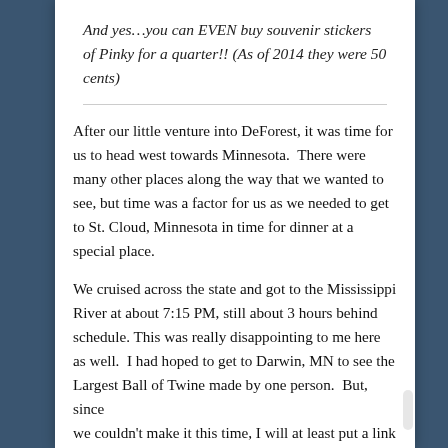And yes…you can EVEN buy souvenir stickers of Pinky for a quarter!! (As of 2014 they were 50 cents)
After our little venture into DeForest, it was time for us to head west towards Minnesota.  There were many other places along the way that we wanted to see, but time was a factor for us as we needed to get to St. Cloud, Minnesota in time for dinner at a special place.
We cruised across the state and got to the Mississippi River at about 7:15 PM, still about 3 hours behind schedule. This was really disappointing to me here as well.  I had hoped to get to Darwin, MN to see the Largest Ball of Twine made by one person.  But, since we couldn't make it this time, I will at least put a link to it: World's Largest Ball of Twine.  There are other Balls of Tw.